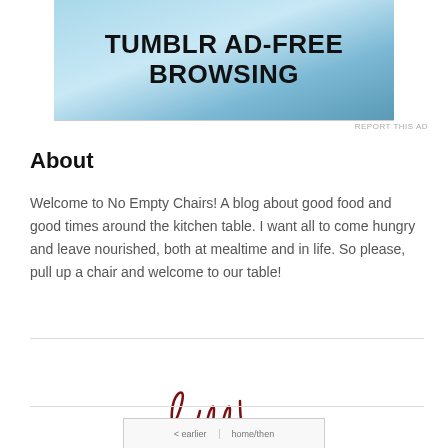[Figure (screenshot): Tumblr ad banner with blue gradient background and bold text reading TUMBLR AD-FREE BROWSING]
REPORT THIS AD
About
Welcome to No Empty Chairs! A blog about good food and good times around the kitchen table. I want all to come hungry and leave nourished, both at mealtime and in life. So please, pull up a chair and welcome to our table!
[Figure (illustration): Handwritten cursive signature reading Kelly in dark red/maroon color]
[Figure (screenshot): Navigation bar at bottom with items including something and something else, partially visible]